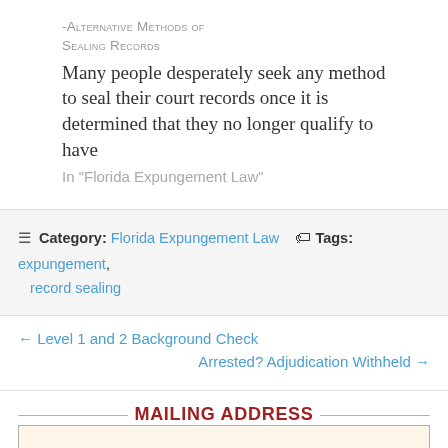-Alternative Methods of Sealing Records
Many people desperately seek any method to seal their court records once it is determined that they no longer qualify to have
In "Florida Expungement Law"
Category: Florida Expungement Law   Tags: expungement, record sealing
← Level 1 and 2 Background Check
Arrested? Adjudication Withheld →
MAILING ADDRESS